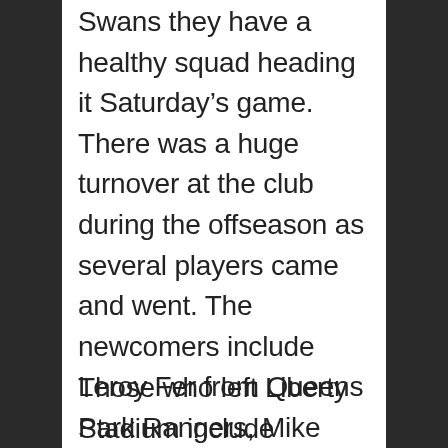Swans they have a healthy squad heading it Saturday's game. There was a huge turnover at the club during the offseason as several players came and went. The newcomers include Leroy Fer from Queens Park Rangers, Mike van der Hoorn from Ajax of Holland, Tyler Reid from Manchester United, George Byers from Watford, Mark Birighetti from the Newcastle Jets of Australia, Fernando Llorente from Sevilla of Spain and Borja Baston from Spanish side Atletico Madrid.
Those who left Liberty Stadium include Matthew Grimes and...